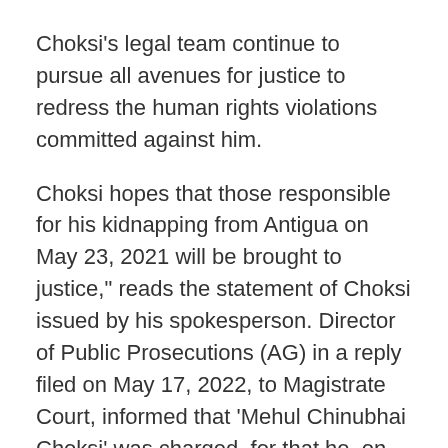Choksi's legal team continue to pursue all avenues for justice to redress the human rights violations committed against him.
Choksi hopes that those responsible for his kidnapping from Antigua on May 23, 2021 will be brought to justice," reads the statement of Choksi issued by his spokesperson. Director of Public Prosecutions (AG) in a reply filed on May 17, 2022, to Magistrate Court, informed that 'Mehul Chinubhai Choksi' was charged, for that he, on the 24th day of May 2021 at Toucarie Bay, Toucarie in the Parish of St John, in the Commonwealth of Dominica, did enter illegally into the Commonwealth of Dominica at a place to wit 'Toucarie Bay, Toucarie' not approved as a point of entry."